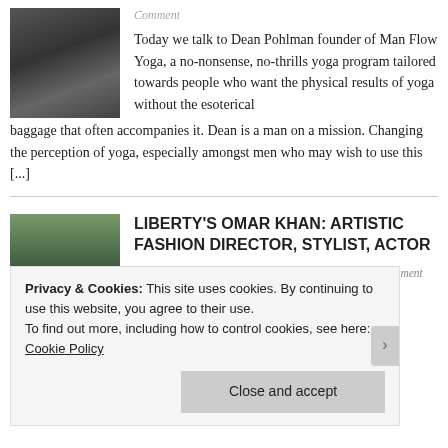Comment
Today we talk to Dean Pohlman founder of Man Flow Yoga, a no-nonsense, no-thrills yoga program tailored towards people who want the physical results of yoga without the esoterical baggage that often accompanies it. Dean is a man on a mission. Changing the perception of yoga, especially amongst men who may wish to use this [...]
LIBERTY'S OMAR KHAN: ARTISTIC FASHION DIRECTOR, STYLIST, ACTOR
November 18, 2014 · by James · in Fashion · Leave a comment
Privacy & Cookies: This site uses cookies. By continuing to use this website, you agree to their use.
To find out more, including how to control cookies, see here: Cookie Policy
Close and accept